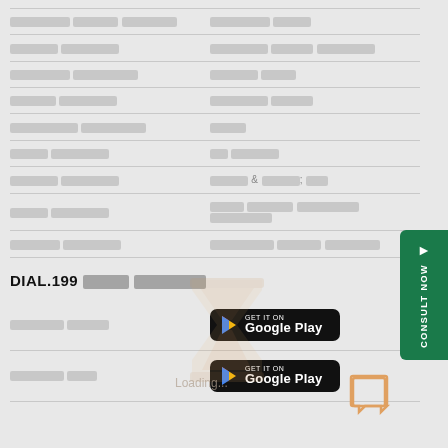| Column 1 | Column 2 |
| --- | --- |
| ███ ████ ██████████ | ██████████ ██████ |
| ██████ █████████ | ██████████ ██████ ██████████ |
| █████████ ██████████ | ███████ █████ |
| ██████ █████████ | █████████ ██████ |
| ██████████ ██████████ | ██████ |
| ████ █████████ | ██ ███████ |
| ██████ █████████ | █████ & █████; ████ |
| ████ █████████ | ████ ███████ ██████████ ██████████ |
| ███████ █████████ | ██████████ █████ █████████ |
DIAL.199 ██████ ██████████
███████ ███████
[Figure (other): Google Play store button]
███████ █████
[Figure (other): Google Play store button]